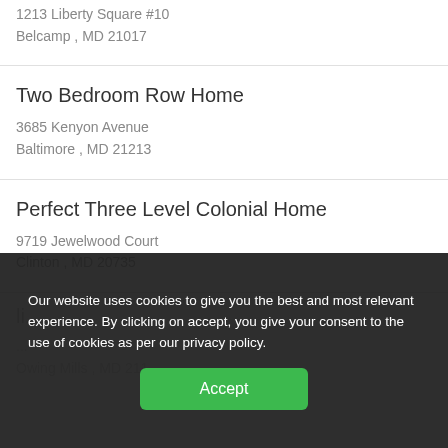1213 Liberty Square #10
Belcamp , MD 21017
Two Bedroom Row Home
3685 Kenyon Avenue
Baltimore , MD 21213
Perfect Three Level Colonial Home
9719 Jewelwood Court
Clinton , MD 20735
Our website uses cookies to give you the best and most relevant experience. By clicking on accept, you give your consent to the use of cookies as per our privacy policy.